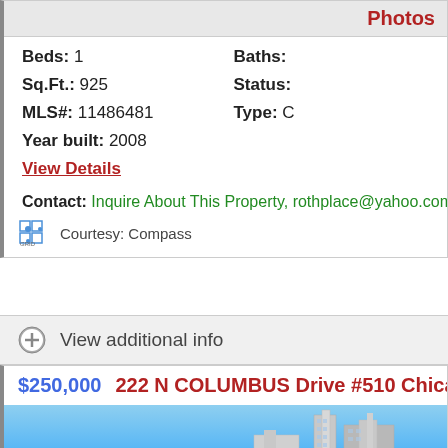Photos
Beds: 1
Baths:
Sq.Ft.: 925
Status:
MLS#: 11486481
Type: C
Year built: 2008
View Details
Contact: Inquire About This Property, rothplace@yahoo.com, 777
Courtesy: Compass
View additional info
$250,000   222 N COLUMBUS Drive #510 Chicago, IL 606
[Figure (photo): Exterior photo of a tall modern skyscraper with blue sky background]